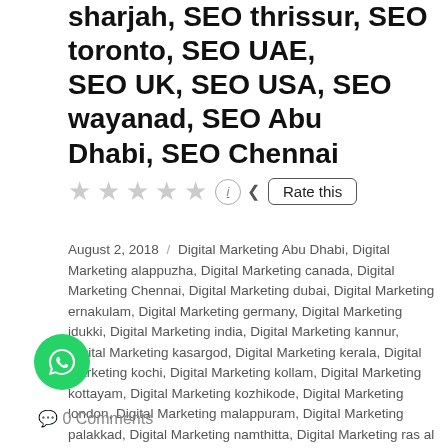sharjah, SEO thrissur, SEO toronto, SEO UAE, SEO UK, SEO USA, SEO wayanad, SEO Abu Dhabi, SEO Chennai
August 2, 2018 / Digital Marketing Abu Dhabi, Digital Marketing alappuzha, Digital Marketing canada, Digital Marketing Chennai, Digital Marketing dubai, Digital Marketing ernakulam, Digital Marketing germany, Digital Marketing idukki, Digital Marketing india, Digital Marketing kannur, Digital Marketing kasargod, Digital Marketing kerala, Digital Marketing kochi, Digital Marketing kollam, Digital Marketing kottayam, Digital Marketing kozhikode, Digital Marketing london, Digital Marketing malappuram, Digital Marketing palakkad, Digital Marketing namthitta, Digital Marketing ras al khaimah, Digital Marketing sharjah, Digital Marketing thrissur, Digital Marketing toronto, Digital Marketing trivandrum, Digital Marketing UAE, Digital Marketing UK, Digital Marketing